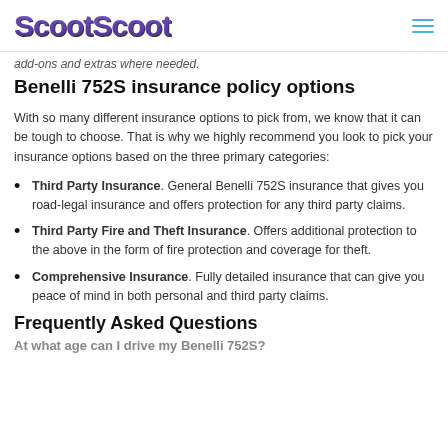ScootScoot
add-ons and extras where needed.
Benelli 752S insurance policy options
With so many different insurance options to pick from, we know that it can be tough to choose. That is why we highly recommend you look to pick your insurance options based on the three primary categories:
Third Party Insurance. General Benelli 752S insurance that gives you road-legal insurance and offers protection for any third party claims.
Third Party Fire and Theft Insurance. Offers additional protection to the above in the form of fire protection and coverage for theft.
Comprehensive Insurance. Fully detailed insurance that can give you peace of mind in both personal and third party claims.
Frequently Asked Questions
At what age can I drive my Benelli 752S?